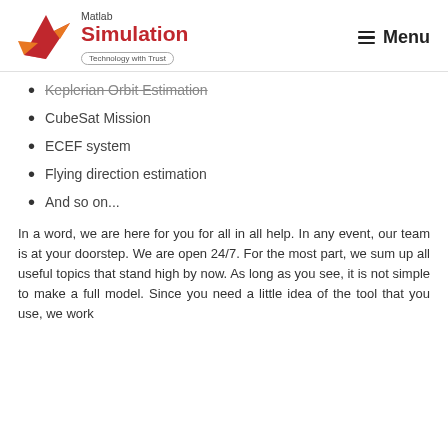[Figure (logo): Matlab Simulation logo with MATLAB rocket/arrow graphic in red and orange, text 'Matlab Simulation' and tagline 'Technology with Trust']
Keplerian Orbit Estimation
CubeSat Mission
ECEF system
Flying direction estimation
And so on...
In a word, we are here for you for all in all help. In any event, our team is at your doorstep. We are open 24/7. For the most part, we sum up all useful topics that stand high by now. As long as you see, it is not simple to make a full model. Since you need a little idea of the tool that you use, we work